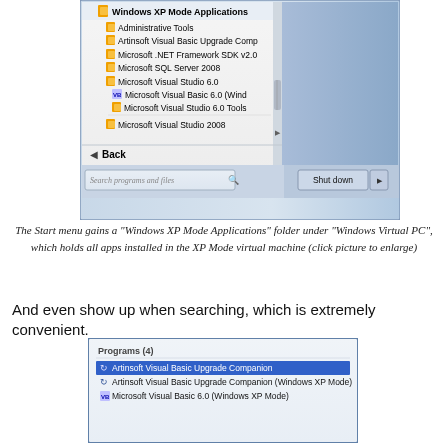[Figure (screenshot): Windows 7 Start menu showing Windows XP Mode Applications folder with items: Administrative Tools, Artinsoft Visual Basic Upgrade Comp..., Microsoft .NET Framework SDK v2.0, Microsoft SQL Server 2008, Microsoft Visual Studio 6.0, Microsoft Visual Basic 6.0 (Wind..., Microsoft Visual Studio 6.0 Tools, Microsoft Visual Studio 2008. Also shows Back button, Search programs and files box, and Shut down button.]
The Start menu gains a "Windows XP Mode Applications" folder under "Windows Virtual PC", which holds all apps installed in the XP Mode virtual machine (click picture to enlarge)
And even show up when searching, which is extremely convenient.
[Figure (screenshot): Windows 7 search results showing Programs (4): Artinsoft Visual Basic Upgrade Companion (highlighted), Artinsoft Visual Basic Upgrade Companion (Windows XP Mode), Microsoft Visual Basic 6.0 (Windows XP Mode)]